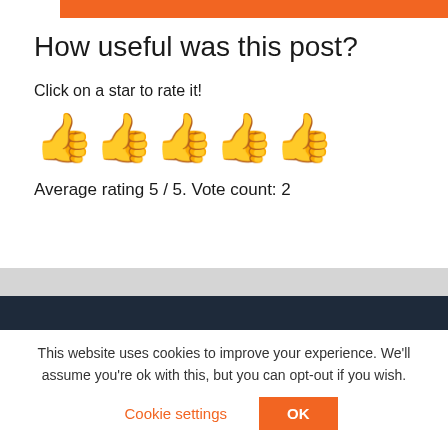[Figure (other): Orange decorative bar at top of page]
How useful was this post?
Click on a star to rate it!
[Figure (illustration): Five yellow thumbs-up emoji icons in a row representing a 5-star style rating widget]
Average rating 5 / 5. Vote count: 2
[Figure (other): Gray and dark navy horizontal bars forming a footer divider]
This website uses cookies to improve your experience. We'll assume you're ok with this, but you can opt-out if you wish.
Cookie settings  OK